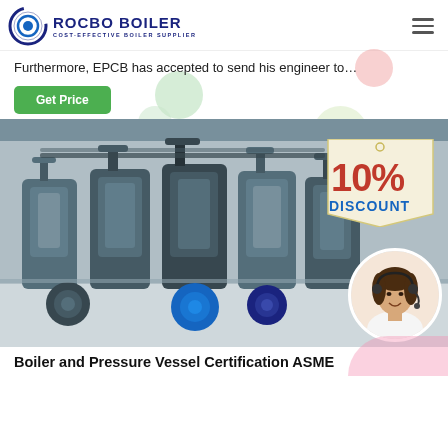ROCBO BOILER — COST-EFFECTIVE BOILER SUPPLIER
Furthermore, EPCB has accepted to send his engineer to…
Get Price
[Figure (photo): Industrial boiler room with multiple vertical steam boilers and a 10% DISCOUNT badge overlay, plus a circular portrait of a female customer service representative wearing a headset]
Boiler and Pressure Vessel Certification ASME